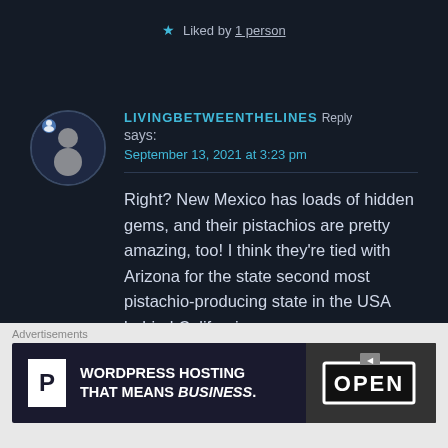★ Liked by 1 person
LIVINGBETWEENTHELINES Reply says: September 13, 2021 at 3:23 pm
Right? New Mexico has loads of hidden gems, and their pistachios are pretty amazing, too! I think they're tied with Arizona for the state second most pistachio-producing state in the USA behind California.
Advertisements
[Figure (other): Advertisement banner: WordPress Hosting That Means BUSINESS. with a P logo on the left and an OPEN sign photo on the right.]